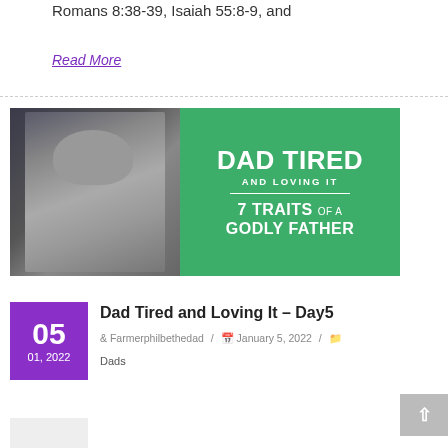Romans 8:38-39, Isaiah 55:8-9, and
Read More
[Figure (illustration): Banner image for 'Dad Tired and Loving It – 7 Traits of a Godly Father'. Left half shows a man smiling against a dark background. Right half is green with white bold text: DAD TIRED / AND LOVING IT / 7 TRAITS OF A / GODLY FATHER.]
05
01, 2022
Dad Tired and Loving It – Day5
Farmerphilbethedad / January 5, 2022 / Dads